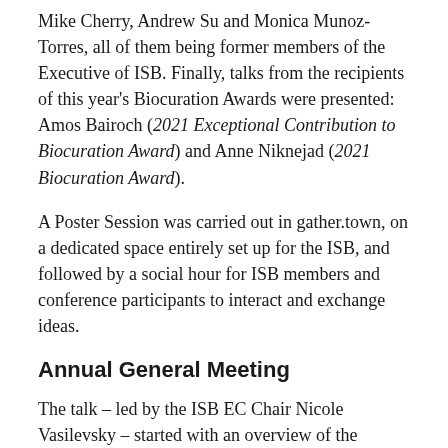Mike Cherry, Andrew Su and Monica Munoz-Torres, all of them being former members of the Executive of ISB. Finally, talks from the recipients of this year's Biocuration Awards were presented: Amos Bairoch (2021 Exceptional Contribution to Biocuration Award) and Anne Niknejad (2021 Biocuration Award).
A Poster Session was carried out in gather.town, on a dedicated space entirely set up for the ISB, and followed by a social hour for ISB members and conference participants to interact and exchange ideas.
Annual General Meeting
The talk – led by the ISB EC Chair Nicole Vasilevsky – started with an overview of the current ISB Executive